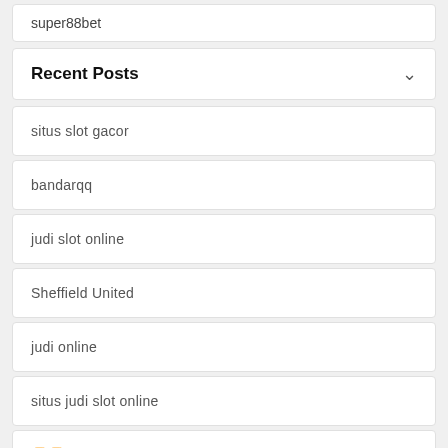super88bet
Recent Posts
situs slot gacor
bandarqq
judi slot online
Sheffield United
judi online
situs judi slot online
🀄🀄